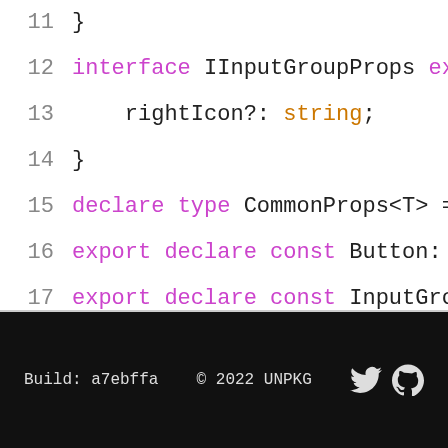11  }
12  interface IInputGroupProps extends IBPIn
13      rightIcon?: string;
14  }
15  declare type CommonProps<T> = React.DOMA
16  export declare const Button: (props: IBut
17  export declare const InputGroup: (props:
18  export declare const Collapse: (props: IC
19  export declare const Select: (props: ISel
20  export declare const Checkbox: (props: IC
Build: a7ebffa   © 2022 UNPKG